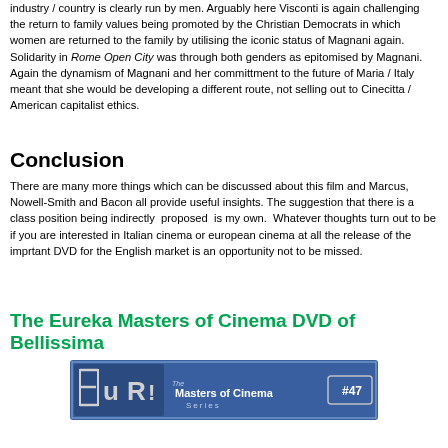industry / country is clearly run by men. Arguably here Visconti is again challenging the return to family values being promoted by the Christian Democrats in which women are returned to the family by utilising the iconic status of Magnani again. Solidarity in Rome Open City was through both genders as epitomised by Magnani. Again the dynamism of Magnani and her committment to the future of Maria / Italy meant that she would be developing a different route, not selling out to Cinecitta / American capitalist ethics.
Conclusion
There are many more things which can be discussed about this film and Marcus, Nowell-Smith and Bacon all provide useful insights. The suggestion that there is a class position being indirectly proposed is my own. Whatever thoughts turn out to be if you are interested in Italian cinema or european cinema at all the release of the imprtant DVD for the English market is an opportunity not to be missed.
The Eureka Masters of Cinema DVD of Bellissima
[Figure (photo): Eureka Masters of Cinema Series DVD label showing the EuReka logo and Masters of Cinema Series #47 badge on a blue banner.]